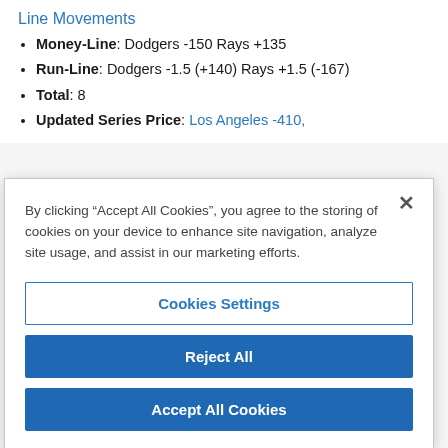Line Movements
Money-Line: Dodgers -150 Rays +135
Run-Line: Dodgers -1.5 (+140) Rays +1.5 (-167)
Total: 8
Updated Series Price: Los Angeles -410,
By clicking “Accept All Cookies”, you agree to the storing of cookies on your device to enhance site navigation, analyze site usage, and assist in our marketing efforts.
Cookies Settings
Reject All
Accept All Cookies